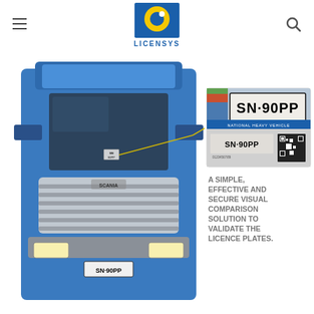[Figure (logo): Licensys logo - blue and yellow circular icon with company name LICENSYS below]
[Figure (photo): Blue Scania heavy truck with a license plate SN·90PP on the front, showing a windshield label detail with a callout to a card showing SN·90PP National Heavy Vehicle plate with QR code. Text overlay reads: A SIMPLE, EFFECTIVE AND SECURE VISUAL COMPARISON SOLUTION TO VALIDATE THE LICENCE PLATES.]